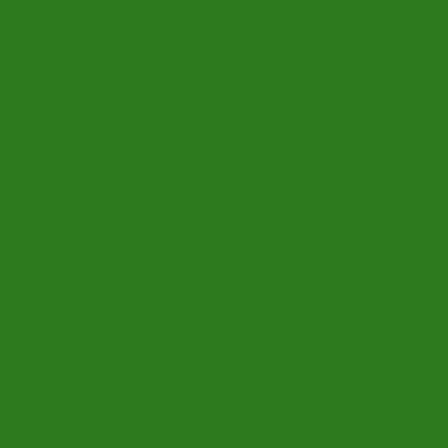[Figure (other): Solid dark green rectangular panel on left side of page]
New York, NY Friday, December 2, 2022 8:00
New York, NY Saturday, December 3, 2022 2:
New York, NY Saturday, December 3, 2022 8:
New York, NY Sunday, December 4, 2022 2:0
New York, NY Sunday, December 4, 2022 7:3
New York, NY Tuesday, December 6, 2022 7:0
New York, NY Wednesday, December 7, 2022
New York, NY Thursday, December 8, 2022 7
New York, NY Friday, December 9, 2022 8:00
New York, NY Saturday, December 10, 2022 2
New York, NY Sunday, December 11, 2022 2:
New York, NY Sunday, December 11, 2022 7:
New York, NY Tuesday, December 13, 2022 7
New York, NY Wednesday, December 14, 202
New York, NY Thursday, December 15, 2022
New York, NY Friday, December 16, 2022 8:0
New York, NY Saturday, December 17, 2022 2
New York, NY Saturday, December 17, 2022 8
New York, NY Sunday, December 18, 2022 2:
New York, NY Sunday, December 18, 2022 7:
New York, NY Monday, December 19, 2022 7:
New York, NY Tuesday, December 20, 2022 7
New York, NY Wednesday, December 21, 202
New York, NY Wednesday, December 21, 202
New York, NY Thursday, December 22, 2022
New York, NY Friday, December 23, 2022 8:0
New York, NY Saturday, December 24, 2022 2
New York, NY Monday, December 26, 2022 2: